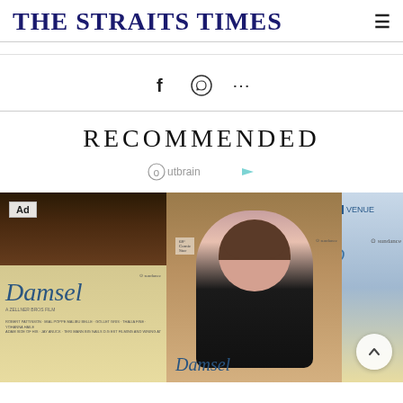THE STRAITS TIMES
[Figure (infographic): Social share icons: Facebook (f), WhatsApp, and more (...)]
RECOMMENDED
[Figure (logo): Outbrain logo with arrow icon]
[Figure (photo): Ad image showing movie poster for 'Damsel' (Sundance film) on the left, and a young woman with bangs smiling in front of Damsel movie posters on the right. An 'Ad' badge is visible in the top-left corner.]